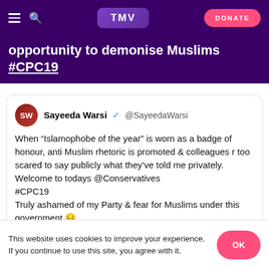TMV | DONATE
opportunity to demonise Muslims #CPC19
Sayeeda Warsi @SayeedaWarsi
When “Islamophobe of the year” is worn as a badge of honour, anti Muslim rhetoric is promoted & colleagues r too scared to say publicly what they’ve told me privately.
Welcome to todays @Conservatives #CPC19
Truly ashamed of my Party & fear for Muslims under this government 😢
[Figure (screenshot): Nested tweet screenshot showing Peter Tatchell: "I'm jealous." #CPC19 and Adam Bienkov @Adam... 1h Muslim Conservative Party member in the audience says]
This website uses cookies to improve your experience. If you continue to use this site, you agree with it.